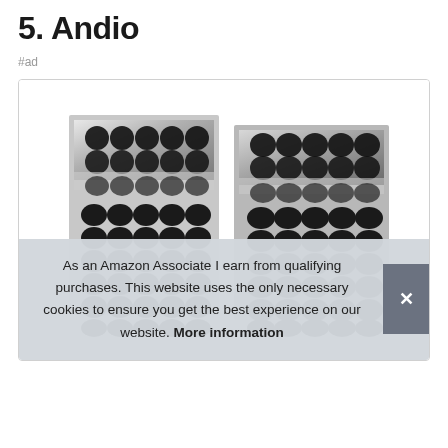5. Andio
#ad
[Figure (photo): Product photo showing two packs of black self-adhesive velcro dot fasteners arranged in rows on white backing sheets.]
As an Amazon Associate I earn from qualifying purchases. This website uses the only necessary cookies to ensure you get the best experience on our website. More information